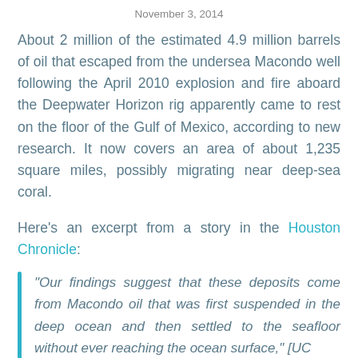November 3, 2014
About 2 million of the estimated 4.9 million barrels of oil that escaped from the undersea Macondo well following the April 2010 explosion and fire aboard the Deepwater Horizon rig apparently came to rest on the floor of the Gulf of Mexico, according to new research. It now covers an area of about 1,235 square miles, possibly migrating near deep-sea coral.
Here's an excerpt from a story in the Houston Chronicle:
“Our findings suggest that these deposits come from Macondo oil that was first suspended in the deep ocean and then settled to the seafloor without ever reaching the ocean surface,” [UC